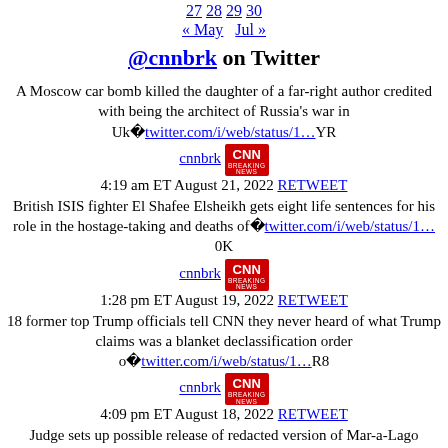27 28 29 30
« May   Jul »
@cnnbrk on Twitter
A Moscow car bomb killed the daughter of a far-right author credited with being the architect of Russia's war in Uk…twitter.com/i/web/status/1…YR
cnnbrk  4:19 am ET August 21, 2022 RETWEET
British ISIS fighter El Shafee Elsheikh gets eight life sentences for his role in the hostage-taking and deaths of…twitter.com/i/web/status/1…0K
cnnbrk  1:28 pm ET August 19, 2022 RETWEET
18 former top Trump officials tell CNN they never heard of what Trump claims was a blanket declassification order o…twitter.com/i/web/status/1…R8
cnnbrk  4:09 pm ET August 18, 2022 RETWEET
Judge sets up possible release of redacted version of Mar-a-Lago